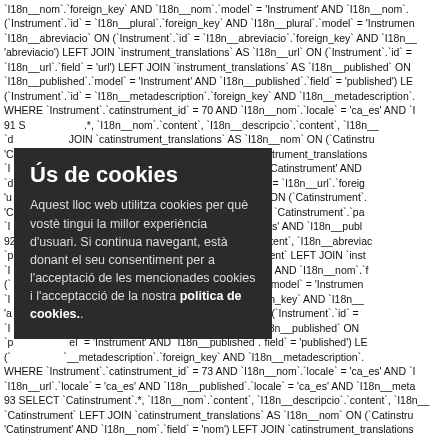`I18n__nom`.`foreign_key` AND `I18n__nom`.`model` = 'Instrument' AND `I18n__nom`.
(`Instrument`.`id` = `I18n__plural`.`foreign_key` AND `I18n__plural`.`model` = 'Instrumen
`I18n__abreviacio` ON (`Instrument`.`id` = `I18n__abreviacio`.`foreign_key` AND `I18n__
'abreviacio') LEFT JOIN `instrument_translations` AS `I18n__url` ON (`Instrument`.`id` =
`I18n__url`.`field` = 'url') LEFT JOIN `instrument_translations` AS `I18n__published` ON
`I18n__published`.`model` = 'Instrument' AND `I18n__published`.`field` = 'published') LE
(`Instrument`.`id` = `I18n__metadescription`.`foreign_key` AND `I18n__metadescription`.
WHERE `Instrument`.`catinstrument_id` = 70 AND `I18n__nom`.`locale` = 'ca_es' AND `I
91 S                    .*, `I18n__nom`.`content`, `I18n__descripcio`.`content`, `I18n__
`d                   JOIN `catinstrument_translations` AS `I18n__nom` ON (`Catinstru
'C                   `n__nom`.`field` = 'nom') LEFT JOIN `catinstrument_translations
`I                  `gn_key` AND `I18n__descripcio`.`model` = 'Catinstrument' AND
`d                  `ns` AS `I18n__url` ON (`Catinstrument`.`id` = `I18n__url`.`foreig
'u                  `rument_translations` AS `I18n__published` ON (`Catinstrument`.
'C                  `n__published`.`field` = 'published') WHERE `Catinstrument`.`pa
`I                  `e` = 'ca_es' AND `I18n__url`.`locale` = 'ca_es' AND `I18n__publ
92 S                `I18n__nom`.`content`, `I18n__plural`.`content`, `I18n__abreviad
`p                  `.`content` FROM `instruments` AS `Instrument` LEFT JOIN `inst
`I                  `ey` AND `I18n__nom`.`model` = 'Instrument' AND `I18n__nom`.`f
(`                  `__plural`.`foreign_key` AND `I18n__plural`.`model` = 'Instrumen
`I                  `Instrument`.`id` = `I18n__abreviacio`.`foreign_key` AND `I18n__
'a                  `instrument_translations` AS `I18n__url` ON (`Instrument`.`id` =
`I                  `LEFT JOIN `instrument_translations` AS `I18n__published` ON
`p                  `el` = 'Instrument' AND `I18n__published`.`field` = 'published') LE
(`                  `__metadescription`.`foreign_key` AND `I18n__metadescription`.
WHERE `Instrument`.`catinstrument_id` = 73 AND `I18n__nom`.`locale` = 'ca_es' AND `I
`I18n__url`.`locale` = 'ca_es' AND `I18n__published`.`locale` = 'ca_es' AND `I18n__meta
93 SELECT `Catinstrument`.*, `I18n__nom`.`content`, `I18n__descripcio`.`content`, `I18n__
`Catinstrument` LEFT JOIN `catinstrument_translations` AS `I18n__nom` ON (`Catinstru
'Catinstrument' AND `I18n__nom`.`field` = 'nom') LEFT JOIN `catinstrument_translations
Ús de cookies
Aquest lloc web utilitza cookies per què vostè tingui la millor experiència d'usuari. Si continua navegant, està donant el seu consentiment per a l'acceptació de les mencionades cookies i l'acceptacció de la nostra politica de cookies..